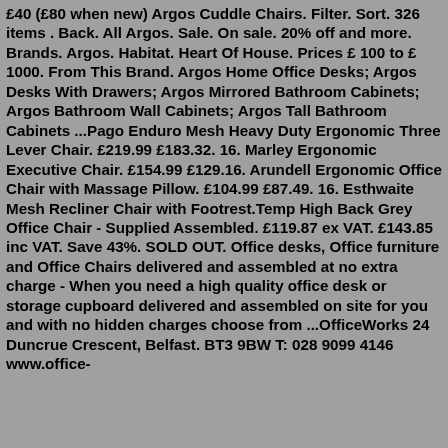£40 (£80 when new) Argos Cuddle Chairs. Filter. Sort. 326 items . Back. All Argos. Sale. On sale. 20% off and more. Brands. Argos. Habitat. Heart Of House. Prices £ 100 to £ 1000. From This Brand. Argos Home Office Desks; Argos Desks With Drawers; Argos Mirrored Bathroom Cabinets; Argos Bathroom Wall Cabinets; Argos Tall Bathroom Cabinets ...Pago Enduro Mesh Heavy Duty Ergonomic Three Lever Chair. £219.99 £183.32. 16. Marley Ergonomic Executive Chair. £154.99 £129.16. Arundell Ergonomic Office Chair with Massage Pillow. £104.99 £87.49. 16. Esthwaite Mesh Recliner Chair with Footrest.Temp High Back Grey Office Chair - Supplied Assembled. £119.87 ex VAT. £143.85 inc VAT. Save 43%. SOLD OUT. Office desks, Office furniture and Office Chairs delivered and assembled at no extra charge - When you need a high quality office desk or storage cupboard delivered and assembled on site for you and with no hidden charges choose from ...OfficeWorks 24 Duncrue Crescent, Belfast. BT3 9BW T: 028 9099 4146 www.office-